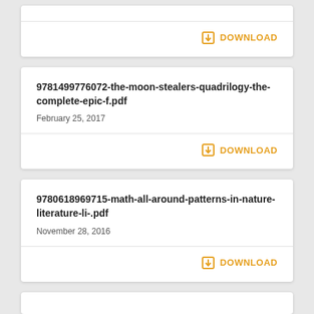DOWNLOAD
9781499776072-the-moon-stealers-quadrilogy-the-complete-epic-f.pdf
February 25, 2017
DOWNLOAD
9780618969715-math-all-around-patterns-in-nature-literature-li-.pdf
November 28, 2016
DOWNLOAD